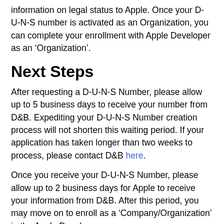information on legal status to Apple. Once your D-U-N-S number is activated as an Organization, you can complete your enrollment with Apple Developer as an ‘Organization’.
Next Steps
After requesting a D-U-N-S Number, please allow up to 5 business days to receive your number from D&B. Expediting your D-U-N-S Number creation process will not shorten this waiting period. If your application has taken longer than two weeks to process, please contact D&B here.
Once you receive your D-U-N-S Number, please allow up to 2 business days for Apple to receive your information from D&B. After this period, you may move on to enroll as a ‘Company/Organization’ in the Apple Developer program.
More Questions